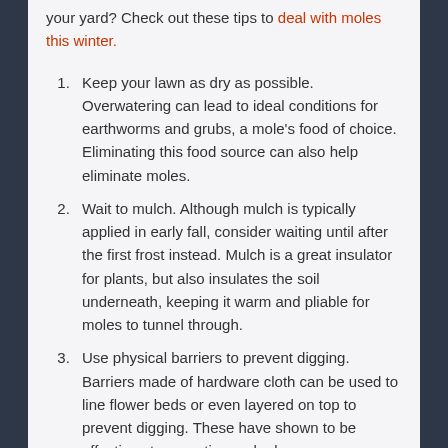your yard? Check out these tips to deal with moles this winter.
Keep your lawn as dry as possible. Overwatering can lead to ideal conditions for earthworms and grubs, a mole's food of choice. Eliminating this food source can also help eliminate moles.
Wait to mulch. Although mulch is typically applied in early fall, consider waiting until after the first frost instead. Mulch is a great insulator for plants, but also insulates the soil underneath, keeping it warm and pliable for moles to tunnel through.
Use physical barriers to prevent digging. Barriers made of hardware cloth can be used to line flower beds or even layered on top to prevent digging. These have shown to be effective at preventing mole damage.
Utilize natural predators. Cats, birds of prey, and